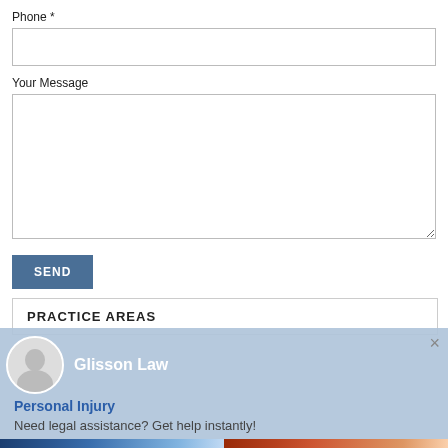Phone *
Your Message
SEND
PRACTICE AREAS
Glisson Law
Personal Injury
Need legal assistance? Get help instantly!
[Figure (photo): Two accident/car crash photos at the bottom of the page]
×